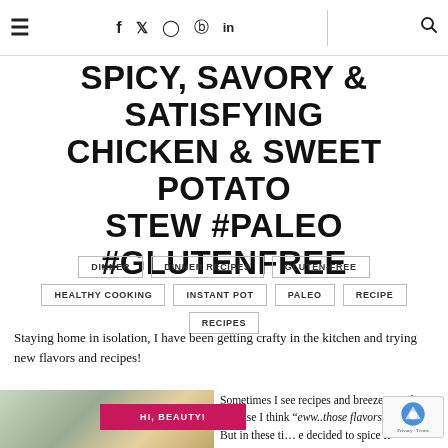≡  f  𝕏  ○  ⊕  in  🔍
SPICY, SAVORY & SATISFYING CHICKEN & SWEET POTATO STEW #PALEO #GLUTENFREE
DINNER  DINNER RECIPES  GLUTEN-FREE  HEALTHY COOKING  INSTANT POT  PALEO  RECIPE  RECIPES
Staying home in isolation, I have been getting crafty in the kitchen and trying new flavors and recipes!
[Figure (photo): Bowl of chicken and sweet potato stew with herbs, avocado and lime in background]
Sometimes I see recipes and breeze past them because I think "eww..those flavors don't g... But in these ti... e decided to spice it